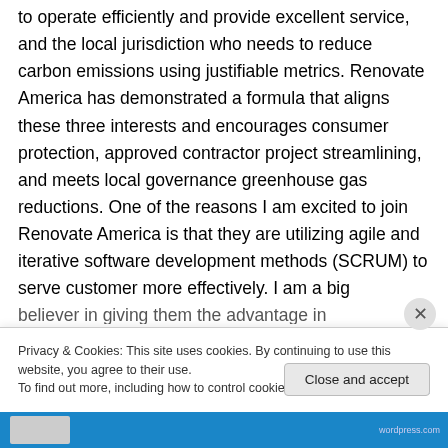to operate efficiently and provide excellent service, and the local jurisdiction who needs to reduce carbon emissions using justifiable metrics. Renovate America has demonstrated a formula that aligns these three interests and encourages consumer protection, approved contractor project streamlining, and meets local governance greenhouse gas reductions. One of the reasons I am excited to join Renovate America is that they are utilizing agile and iterative software development methods (SCRUM) to serve customer more effectively. I am a big
Privacy & Cookies: This site uses cookies. By continuing to use this website, you agree to their use.
To find out more, including how to control cookies, see here: Cookie Policy
Close and accept